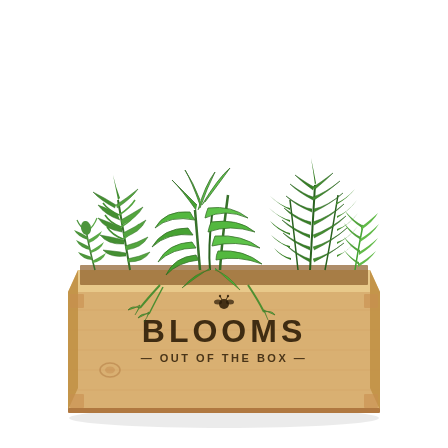[Figure (photo): A wooden rectangular planter box with natural light pine wood, branded with a small bee/flower icon and the text 'BLOOMS' in large bold letters and '— OUT OF THE BOX —' beneath it. The box contains several lush green plants including a fern on the left, broad-leafed herbs in the center (resembling parsley or coriander), and a tall spiky rosemary or similar herb on the right. White background.]